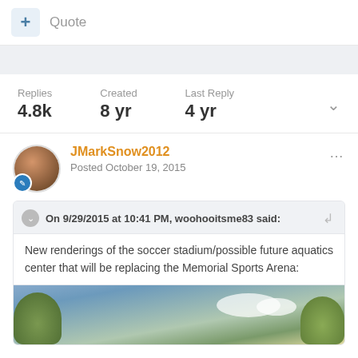+ Quote
Replies 4.8k | Created 8 yr | Last Reply 4 yr
JMarkSnow2012
Posted October 19, 2015
On 9/29/2015 at 10:41 PM, woohooitsme83 said:
New renderings of the soccer stadium/possible future aquatics center that will be replacing the Memorial Sports Arena:
[Figure (photo): Partial view of an outdoor sports facility rendering with trees and blue sky]